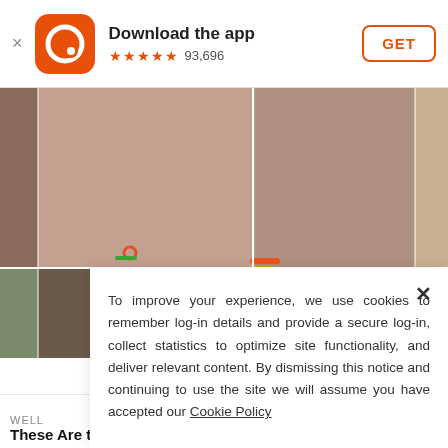[Figure (screenshot): App download banner with orange circular app icon, title 'Download the app', 5 orange stars, rating count 93,696, and orange-bordered GET button]
[Figure (photo): Photo collage grid of women's faces/portraits]
To improve your experience, we use cookies to remember log-in details and provide a secure log-in, collect statistics to optimize site functionality, and deliver relevant content. By dismissing this notice and continuing to use the site we will assume you have accepted our Cookie Policy
WELL